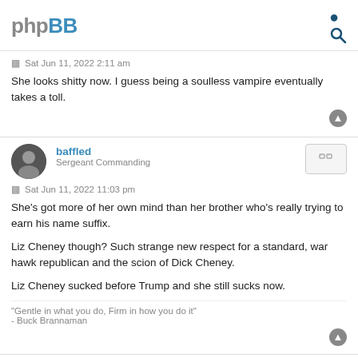phpBB
Sat Jun 11, 2022 2:11 am
She looks shitty now. I guess being a soulless vampire eventually takes a toll.
baffled
Sergeant Commanding
Sat Jun 11, 2022 11:03 pm
She's got more of her own mind than her brother who's really trying to earn his name suffix.

Liz Cheney though? Such strange new respect for a standard, war hawk republican and the scion of Dick Cheney.

Liz Cheney sucked before Trump and she still sucks now.
"Gentle in what you do, Firm in how you do it"
- Buck Brannaman